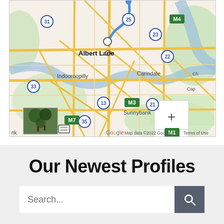[Figure (map): Google Maps screenshot showing Brisbane area suburbs including Albert Lane, Indooroopilly, Carindale, Sunnybank, with highway markers M4, M3, M7, M1, and numbered routes 31, 25, 23, 22, 33, 13, 21, 35. A blue route line is drawn on the map. Zoom controls (+/-) visible on right. Map data ©2022 Google, Terms of Use shown at bottom.]
Our Newest Profiles